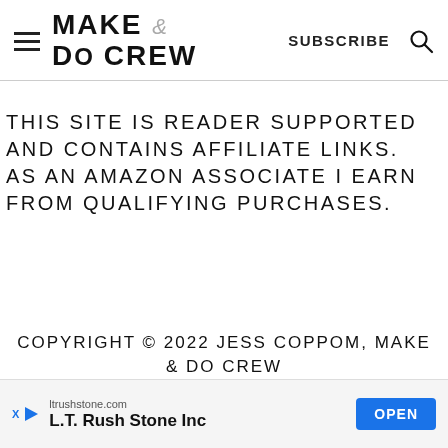MAKE & DO CREW | SUBSCRIBE
THIS SITE IS READER SUPPORTED AND CONTAINS AFFILIATE LINKS. AS AN AMAZON ASSOCIATE I EARN FROM QUALIFYING PURCHASES.
COPYRIGHT © 2022 JESS COPPOM, MAKE & DO CREW
[Figure (other): Advertisement banner for ltrushstone.com - L.T. Rush Stone Inc with OPEN button]